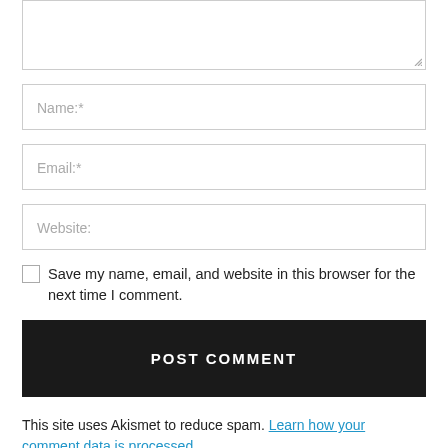[Figure (screenshot): Textarea input box (comment field) with resize handle at bottom-right corner]
[Figure (screenshot): Text input field with placeholder text 'Name:*']
[Figure (screenshot): Text input field with placeholder text 'Email:*']
[Figure (screenshot): Text input field with placeholder text 'Website:']
Save my name, email, and website in this browser for the next time I comment.
POST COMMENT
This site uses Akismet to reduce spam. Learn how your comment data is processed.